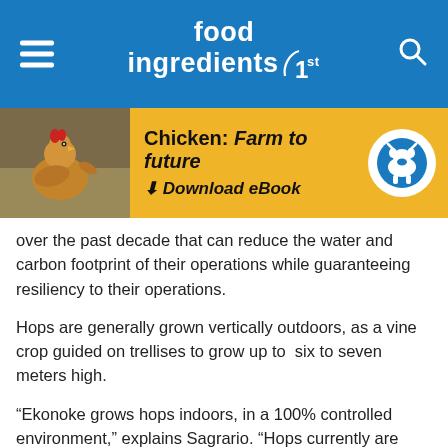food ingredients 1st
[Figure (screenshot): Yellow promotional banner for 'Chicken: Farm to future – Download eBook' with a chicken photo on the left and a logo icon on the right]
over the past decade that can reduce the water and carbon footprint of their operations while guaranteeing resiliency to their operations.
Hops are generally grown vertically outdoors, as a vine crop guided on trellises to grow up to  six to seven meters high.
“Ekonoke grows hops indoors, in a 100% controlled environment,” explains Sagrario. “Hops currently are only grown outdoors in specific parts of the world that have temperate climates, long summer days and abundant water.
“As climate change impacts both maximum summer temperatures and average rainfall, conventional hop farming has been facing diminishing production and